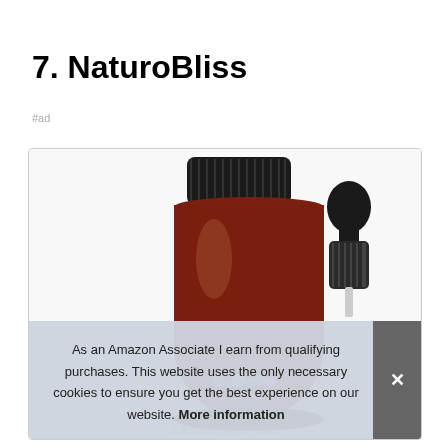7. NaturoBliss
#ad
[Figure (photo): Product photo of a dark amber glass bottle with a black screw-on cap and a separate black dropper cap. Small purple flowers visible at the base. Label reads ESSENTIAL OIL at the bottom.]
As an Amazon Associate I earn from qualifying purchases. This website uses the only necessary cookies to ensure you get the best experience on our website. More information